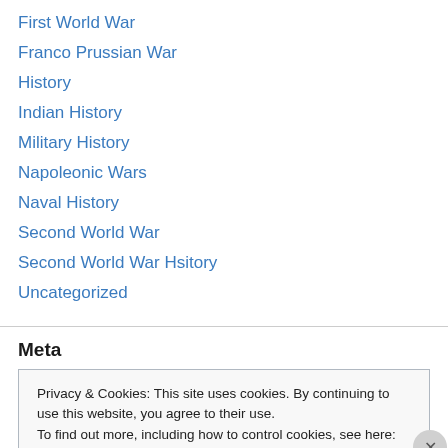First World War
Franco Prussian War
History
Indian History
Military History
Napoleonic Wars
Naval History
Second World War
Second World War Hsitory
Uncategorized
Meta
Privacy & Cookies: This site uses cookies. By continuing to use this website, you agree to their use.
To find out more, including how to control cookies, see here: Cookie Policy
Close and accept